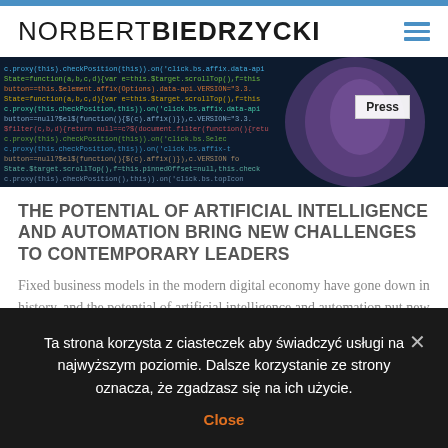NORBERT BIEDRZYCKI
[Figure (photo): Hero banner image showing code on a dark background with a futuristic human face silhouette on the right side, with a 'Press' badge overlaid]
THE POTENTIAL OF ARTIFICIAL INTELLIGENCE AND AUTOMATION BRING NEW CHALLENGES TO CONTEMPORARY LEADERS
Fixed business models in the modern digital economy have gone down in history, and the potential of artificial intelligence and automation put new challenges ahead of today's leaders in the organization.
Ta strona korzysta z ciasteczek aby świadczyć usługi na najwyższym poziomie. Dalsze korzystanie ze strony oznacza, że zgadzasz się na ich użycie.
Close